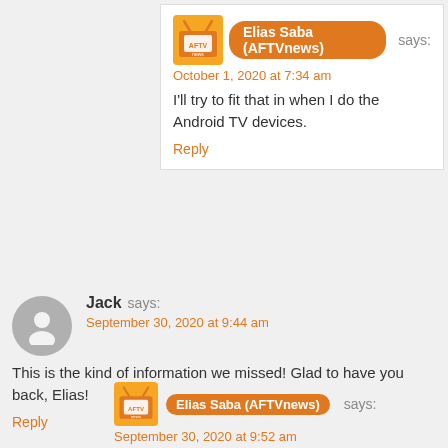Elias Saba (AFTVnews) says: October 1, 2020 at 7:34 am
I'll try to fit that in when I do the Android TV devices.
Reply
Jack says: September 30, 2020 at 9:44 am
This is the kind of information we missed! Glad to have you back, Elias!
Reply
Elias Saba (AFTVnews) says: September 30, 2020 at 9:52 am
Thanks! Feels great to be back! Much more to come!